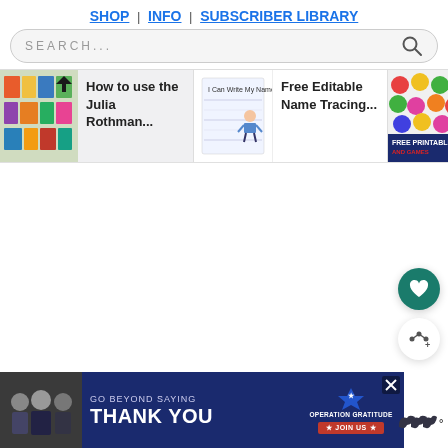SHOP | INFO | SUBSCRIBER LIBRARY
SEARCH...
[Figure (screenshot): Card strip with 4 content cards: 'How to use the Julia Rothman...', 'Free Editable Name Tracing...', 'Free [Counting] Bears...', and a partially visible fourth card. Each card has a thumbnail image on the left and text on the right.]
[Figure (screenshot): Ad banner at bottom: 'GO BEYOND SAYING THANK YOU' with Operation Gratitude logo and JOIN US button. Photo of people on left. Close X button top right.]
[Figure (other): Tailwind logo/icon on bottom right]